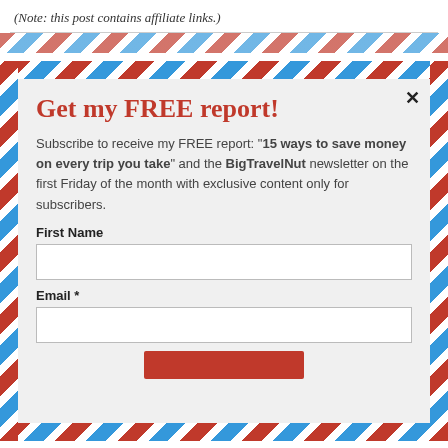(Note: this post contains affiliate links.)
[Figure (infographic): Email subscription modal with airmail-style diagonal stripe border, containing a free report offer form with First Name and Email fields]
Get my FREE report!
Subscribe to receive my FREE report: "15 ways to save money on every trip you take" and the BigTravelNut newsletter on the first Friday of the month with exclusive content only for subscribers.
First Name
Email *